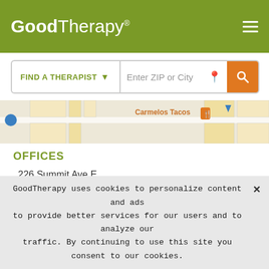GoodTherapy®
FIND A THERAPIST  ▾  Enter ZIP or City
[Figure (screenshot): Google Maps strip showing Carmelos Tacos location marker and street map]
OFFICES
226 Summit Ave E
Seattle, Washington 98102
View Accessibility
MY APPROACH TO HELPING
GoodTherapy uses cookies to personalize content and ads to provide better services for our users and to analyze our traffic. By continuing to use this site you consent to our cookies.